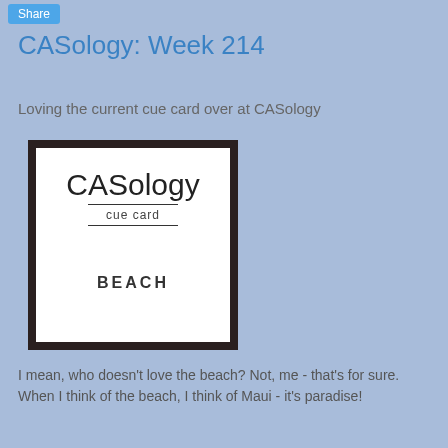Share
CASology: Week 214
Loving the current cue card over at CASology
[Figure (illustration): CASology cue card with bold black border on white background. Shows 'CASology' in large thin font, 'cue card' in smaller text with underline, and 'BEACH' in bold spaced letters below.]
I mean, who doesn't love the beach? Not, me - that's for sure. When I think of the beach, I think of Maui - it's paradise!